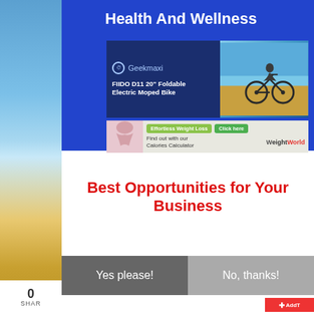Health And Wellness
[Figure (screenshot): Geekmaxi advertisement banner for FIIDO D11 20" Foldable Electric Moped Bike with dark blue background and bicycle image]
[Figure (screenshot): WeightWorld advertisement banner with Effortless Weight Loss and Calories Calculator promotion]
Best Opportunities for Your Business
[Figure (other): Yes please! and No, thanks! button options]
0 SHAR
AddT